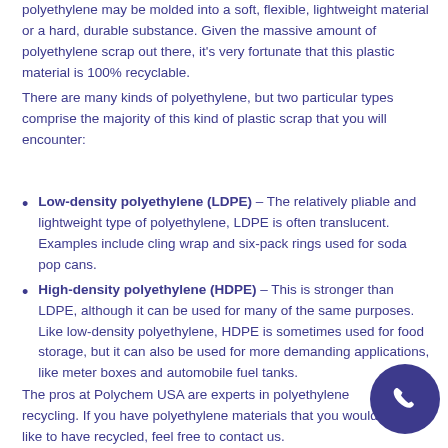polyethylene may be molded into a soft, flexible, lightweight material or a hard, durable substance. Given the massive amount of polyethylene scrap out there, it's very fortunate that this plastic material is 100% recyclable.
There are many kinds of polyethylene, but two particular types comprise the majority of this kind of plastic scrap that you will encounter:
Low-density polyethylene (LDPE) – The relatively pliable and lightweight type of polyethylene, LDPE is often translucent. Examples include cling wrap and six-pack rings used for soda pop cans.
High-density polyethylene (HDPE) – This is stronger than LDPE, although it can be used for many of the same purposes. Like low-density polyethylene, HDPE is sometimes used for food storage, but it can also be used for more demanding applications, like meter boxes and automobile fuel tanks.
The pros at Polychem USA are experts in polyethylene recycling. If you have polyethylene materials that you would like to have recycled, feel free to contact us.